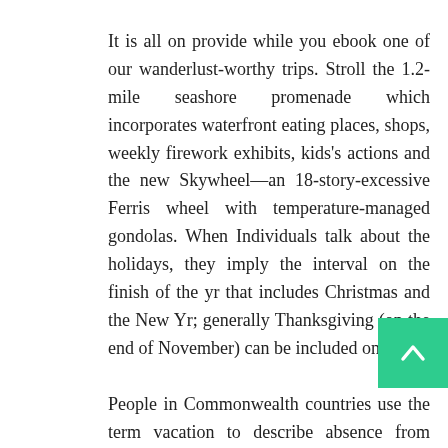It is all on provide while you ebook one of our wanderlust-worthy trips. Stroll the 1.2-mile seashore promenade which incorporates waterfront eating places, shops, weekly firework exhibits, kids's actions and the new Skywheel—an 18-story-excessive Ferris wheel with temperature-managed gondolas. When Individuals talk about the holidays, they imply the interval on the finish of the yr that includes Christmas and the New Yr; generally Thanksgiving (on the end of November) can be included on this.
People in Commonwealth countries use the term vacation to describe absence from work as well to describe a vacation or journey. Canadians usually use vacation and vacation interchangeably referring to a visit away from dwelling or break day